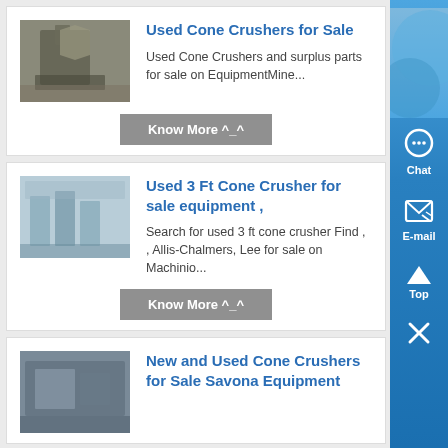[Figure (photo): Used cone crusher machinery outdoors]
Used Cone Crushers for Sale
Used Cone Crushers and surplus parts for sale on EquipmentMine...
Know More ^_^
[Figure (photo): Used 3 ft cone crusher industrial equipment]
Used 3 Ft Cone Crusher for sale equipment ,
Search for used 3 ft cone crusher Find , , Allis-Chalmers, Lee for sale on Machinio...
Know More ^_^
[Figure (photo): New and used cone crushers at Savona Equipment]
New and Used Cone Crushers for Sale Savona Equipment